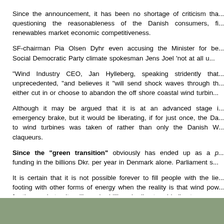Since the announcement, it has been no shortage of criticism tha... questioning the reasonableness of the Danish consumers, fi... renewables market economic competitiveness.
SF-chairman Pia Olsen Dyhr even accusing the Minister for be... Social Democratic Party climate spokesman Jens Joel 'not at all u...
"Wind Industry CEO, Jan Hylleberg, speaking stridently that... unprecedented, "and believes it "will send shock waves through th... either cut in or choose to abandon the off shore coastal wind turbin...
Although it may be argued that it is at an advanced stage i... emergency brake, but it would be liberating, if for just once, the Da... to wind turbines was taken of rather than only the Danish W... claqueurs.
Since the "green transition" obviously has ended up as a p... funding in the billions Dkr. per year in Denmark alone. Parliament s...
It is certain that it is not possible forever to fill people with the lie... footing with other forms of energy when the reality is that wind pow... for time and eternity will require billions in direct and indirect suppo...
[Figure (other): Green/olive colored footer bar at the bottom of the page]